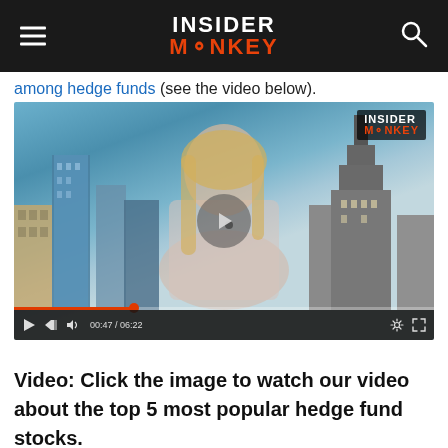INSIDER MONKEY
among hedge funds (see the video below).
[Figure (screenshot): Video thumbnail showing a female presenter against a New York City skyline background with skyscrapers. The video player shows a play button overlay, progress bar, and controls showing time 00:47 / 06:22. Insider Monkey logo appears in top-right corner of video.]
Video: Click the image to watch our video about the top 5 most popular hedge fund stocks.